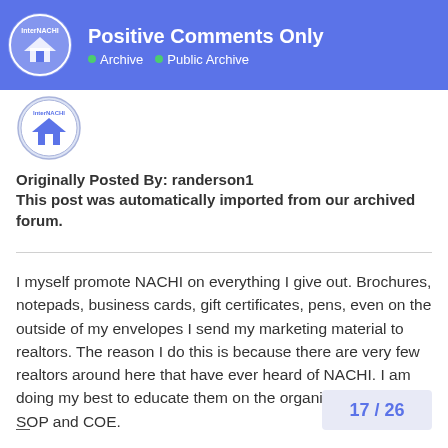Positive Comments Only | Archive | Public Archive
[Figure (logo): InterNACHI logo — circular badge with house icon]
Originally Posted By: randerson1
This post was automatically imported from our archived forum.
I myself promote NACHI on everything I give out. Brochures, notepads, business cards, gift certificates, pens, even on the outside of my envelopes I send my marketing material to realtors. The reason I do this is because there are very few realtors around here that have ever heard of NACHI. I am doing my best to educate them on the organization and our SOP and COE.
17 / 26